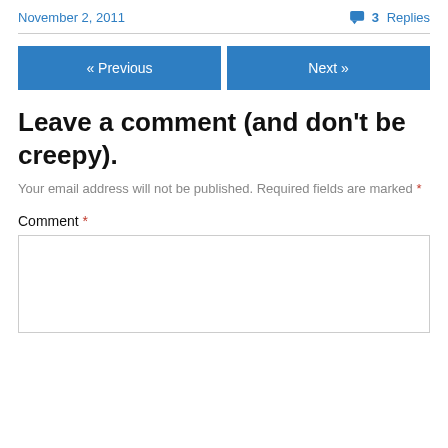November 2, 2011
3 Replies
« Previous
Next »
Leave a comment (and don't be creepy).
Your email address will not be published. Required fields are marked *
Comment *